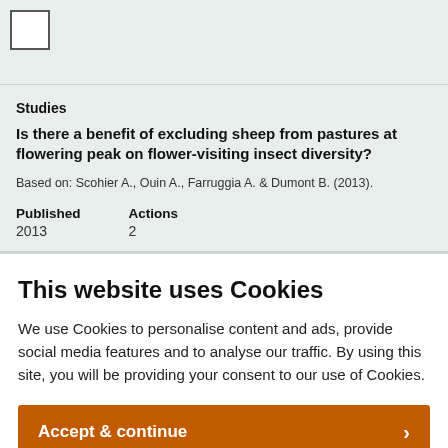Studies
Is there a benefit of excluding sheep from pastures at flowering peak on flower-visiting insect diversity?
Based on: Scohier A., Ouin A., Farruggia A. & Dumont B. (2013).
Published
2013

Actions
2
This website uses Cookies
We use Cookies to personalise content and ads, provide social media features and to analyse our traffic. By using this site, you will be providing your consent to our use of Cookies.
Accept & continue